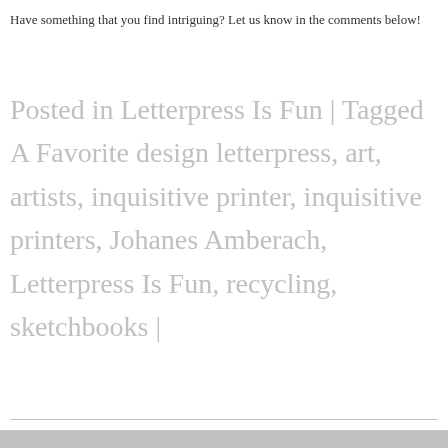Have something that you find intriguing? Let us know in the comments below!
Posted in Letterpress Is Fun | Tagged A Favorite design letterpress, art, artists, inquisitive printer, inquisitive printers, Johanes Amberach, Letterpress Is Fun, recycling, sketchbooks |